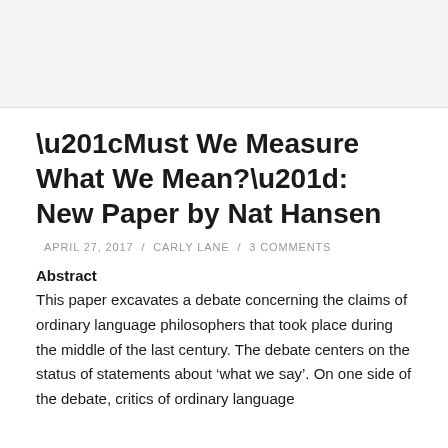“Must We Measure What We Mean?”: New Paper by Nat Hansen
APRIL 27, 2017 / CARLY LANE / 3 COMMENTS
Abstract
This paper excavates a debate concerning the claims of ordinary language philosophers that took place during the middle of the last century. The debate centers on the status of statements about ‘what we say’. On one side of the debate, critics of ordinary language